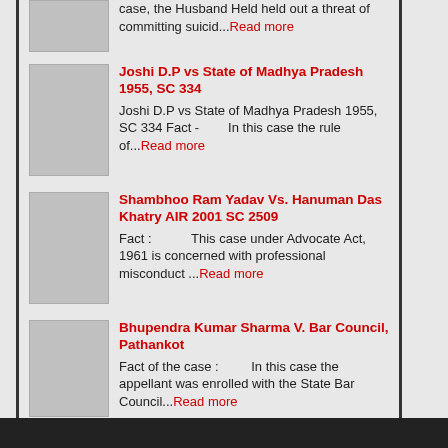case, the Husband Held held out a threat of committing suicid...Read more
Joshi D.P vs State of Madhya Pradesh 1955, SC 334 | Joshi D.P vs State of Madhya Pradesh 1955, SC 334 Fact - In this case the rule of...Read more
Shambhoo Ram Yadav Vs. Hanuman Das Khatry AIR 2001 SC 2509 | Fact: This case under Advocate Act, 1961 is concerned with professional misconduct ...Read more
Bhupendra Kumar Sharma V. Bar Council, Pathankot | Fact of the case: In this case the appellant was enrolled with the State Bar Council...Read more
Contempt of Courts by Lawyers | The court has power to punish every person, body or authority found guilty of Co...Read more